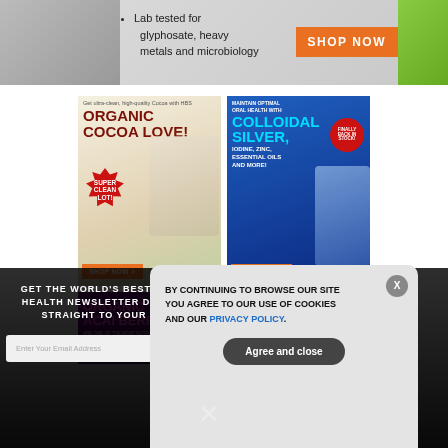[Figure (illustration): Top banner advertisement: Lab tested for glyphosate, heavy metals and microbiology. SHOP NOW button.]
[Figure (illustration): Organic Cocoa Love ad - Super Clean Lot! SHOP NOW button. Green/beige background.]
[Figure (illustration): Colloidal Silver ad - Maintain Optimal Oral Health with Colloidal Silver, Iodine, Zinc, Essential Oils and More! Finally Back in Stock! SHOP NOW button.]
[Figure (illustration): Organic Acai Berries ad - purple background, pink text. ARE ONE OF THE MOST NUTRITIOUS text visible.]
[Figure (illustration): Ghost World ad on grey/tan background.]
GET THE WORLD'S BEST NATURAL HEALTH NEWSLETTER DELIVERED STRAIGHT TO YOUR INBOX
Enter Your Email Address
SUBSCRIBE
BY CONTINUING TO BROWSE OUR SITE YOU AGREE TO OUR USE OF COOKIES AND OUR PRIVACY POLICY.
Agree and close